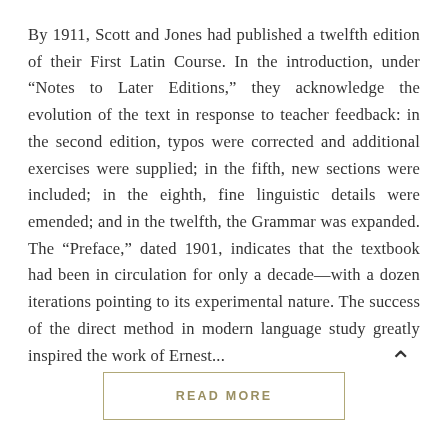By 1911, Scott and Jones had published a twelfth edition of their First Latin Course. In the introduction, under “Notes to Later Editions,” they acknowledge the evolution of the text in response to teacher feedback: in the second edition, typos were corrected and additional exercises were supplied; in the fifth, new sections were included; in the eighth, fine linguistic details were emended; and in the twelfth, the Grammar was expanded. The “Preface,” dated 1901, indicates that the textbook had been in circulation for only a decade—with a dozen iterations pointing to its experimental nature. The success of the direct method in modern language study greatly inspired the work of Ernest...
READ MORE